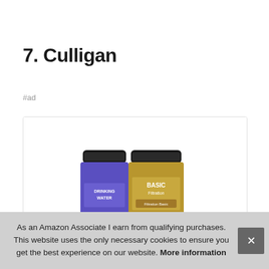7. Culligan
#ad
[Figure (photo): Product photo showing two Culligan water filter canisters — one labeled 'DRINKING WATER' in purple/blue and one labeled 'BASIC Filtration' in gold/brown, both with black caps.]
As an Amazon Associate I earn from qualifying purchases. This website uses the only necessary cookies to ensure you get the best experience on our website. More information